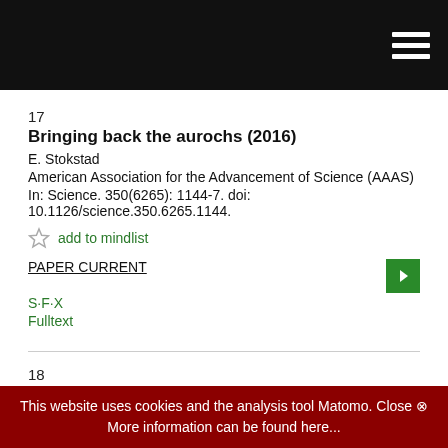17
Bringing back the aurochs (2016)
E. Stokstad
American Association for the Advancement of Science (AAAS)
In: Science. 350(6265): 1144-7. doi: 10.1126/science.350.6265.1144.
add to mindlist
PAPER CURRENT
S·F·X
Fulltext
18
Why we outlive our pets (2016)
This website uses cookies and the analysis tool Matomo. Close ⊗ More information can be found here...